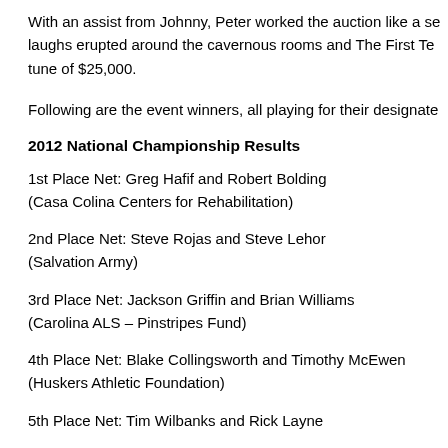With an assist from Johnny, Peter worked the auction like a se… laughs erupted around the cavernous rooms and The First Te… tune of $25,000.
Following are the event winners, all playing for their designate…
2012 National Championship Results
1st Place Net: Greg Hafif and Robert Bolding (Casa Colina Centers for Rehabilitation)
2nd Place Net: Steve Rojas and Steve Lehor (Salvation Army)
3rd Place Net: Jackson Griffin and Brian Williams (Carolina ALS – Pinstripes Fund)
4th Place Net: Blake Collingsworth and Timothy McEwen (Huskers Athletic Foundation)
5th Place Net: Tim Wilbanks and Rick Layne